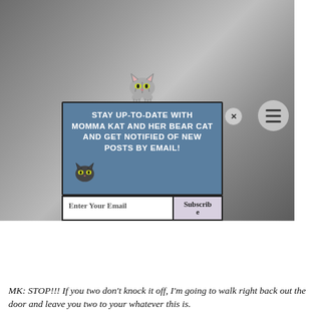[Figure (photo): A tabby/striped cat lying on a gray textured surface, partially visible. A popup subscription widget overlays the image with a cartoon cat icon on top, blue background with white bold text reading 'STAY UP-TO-DATE WITH MOMMA KAT AND HER BEAR CAT AND GET NOTIFIED OF NEW POSTS BY EMAIL!', a dark cat icon at bottom-left, an email input field, and a Subscribe button. An X close button appears top-right. A hamburger menu button appears at the lower right.]
MK: STOP!!! If you two don't knock it off, I'm going to walk right back out the door and leave you two to your whatever this is.